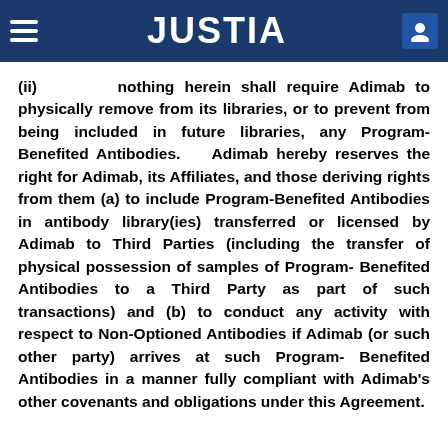JUSTIA
(ii) nothing herein shall require Adimab to physically remove from its libraries, or to prevent from being included in future libraries, any Program-Benefited Antibodies. Adimab hereby reserves the right for Adimab, its Affiliates, and those deriving rights from them (a) to include Program-Benefited Antibodies in antibody library(ies) transferred or licensed by Adimab to Third Parties (including the transfer of physical possession of samples of Program- Benefited Antibodies to a Third Party as part of such transactions) and (b) to conduct any activity with respect to Non-Optioned Antibodies if Adimab (or such other party) arrives at such Program- Benefited Antibodies in a manner fully compliant with Adimab's other covenants and obligations under this Agreement.